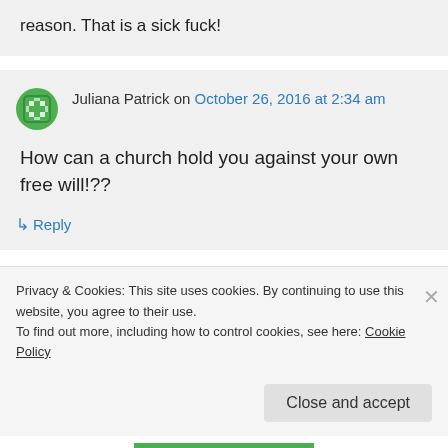reason. That is a sick fuck!
Juliana Patrick on October 26, 2016 at 2:34 am
How can a church hold you against your own free will!??
↳ Reply
Privacy & Cookies: This site uses cookies. By continuing to use this website, you agree to their use.
To find out more, including how to control cookies, see here: Cookie Policy
Close and accept